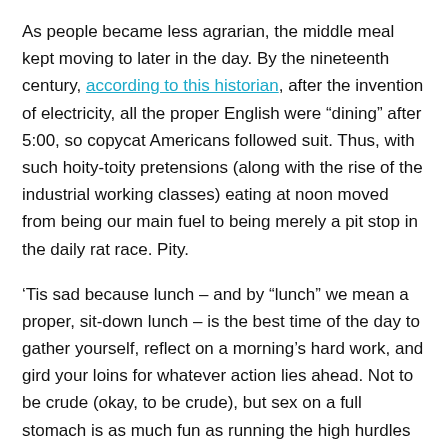As people became less agrarian, the middle meal kept moving to later in the day. By the nineteenth century, according to this historian, after the invention of electricity, all the proper English were “dining” after 5:00, so copycat Americans followed suit. Thus, with such hoity-toity pretensions (along with the rise of the industrial working classes) eating at noon moved from being our main fuel to being merely a pit stop in the daily rat race. Pity.
‘Tis sad because lunch – and by “lunch” we mean a proper, sit-down lunch – is the best time of the day to gather yourself, reflect on a morning’s hard work, and gird your loins for whatever action lies ahead. Not to be crude (okay, to be crude), but sex on a full stomach is as much fun as running the high hurdles with hemorrhoids.
Gluttony and fucking are as incompatible as chocolate and cheese. Exhibit A: Have you ever heard of anyone getting laid after a huge Thanksgiving dinner? (I REST MY CASE.)